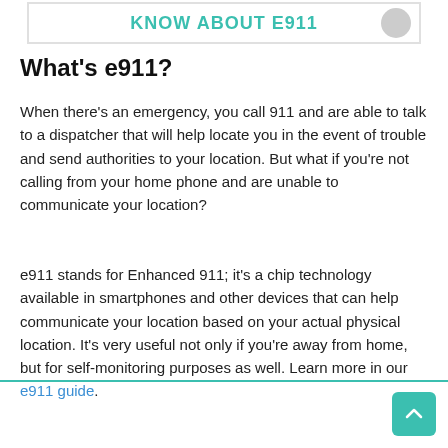[Figure (infographic): Banner image with teal text reading 'KNOW ABOUT E911' with a phone icon on a white background with border]
What's e911?
When there's an emergency, you call 911 and are able to talk to a dispatcher that will help locate you in the event of trouble and send authorities to your location. But what if you're not calling from your home phone and are unable to communicate your location?
e911 stands for Enhanced 911; it's a chip technology available in smartphones and other devices that can help communicate your location based on your actual physical location. It's very useful not only if you're away from home, but for self-monitoring purposes as well. Learn more in our e911 guide.